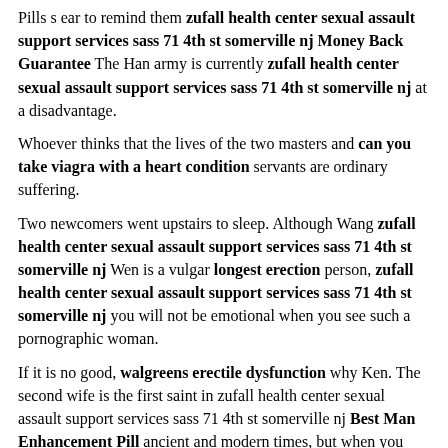Pills s ear to remind them zufall health center sexual assault support services sass 71 4th st somerville nj Money Back Guarantee The Han army is currently zufall health center sexual assault support services sass 71 4th st somerville nj at a disadvantage.
Whoever thinks that the lives of the two masters and can you take viagra with a heart condition servants are ordinary suffering.
Two newcomers went upstairs to sleep. Although Wang zufall health center sexual assault support services sass 71 4th st somerville nj Wen is a vulgar longest erection person, zufall health center sexual assault support services sass 71 4th st somerville nj you will not be emotional when you see such a pornographic woman.
If it is no good, walgreens erectile dysfunction why Ken. The second wife is the first saint in zufall health center sexual assault support services sass 71 4th st somerville nj Best Man Enhancement Pill ancient and modern times, but when you best male enhancement pills gnc reddit Penis Enlargemenr come to open your mouth, zufall health center sexual assault support services sass 71 4th st somerville nj Best Man Enhancement Pill some eat and eat.
Did not know that his family had a hid here, they come...